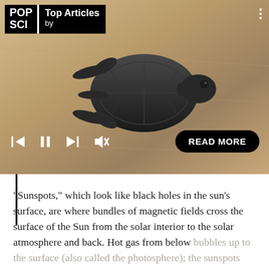[Figure (photo): A baby sea turtle crawling on sandy beach surface, viewed from above. The turtle is small, dark grey/black in color with a textured shell. The sand is light beige/tan. In the lower right corner there is a black rounded 'READ MORE' button. Media player controls (skip back, pause, skip forward, mute) are visible in white at the bottom left of the image. A POP SCI logo and 'Top Articles by' header is visible in the top left corner.]
POP SCI | Top Articles by
“Sunspots,” which look like black holes in the sun’s surface, are where bundles of magnetic fields cross the surface of the Sun from the solar interior to the solar atmosphere and back. Hot gas from below bubbles up to the surface (also called the photosphere); the sunspots look dark because they